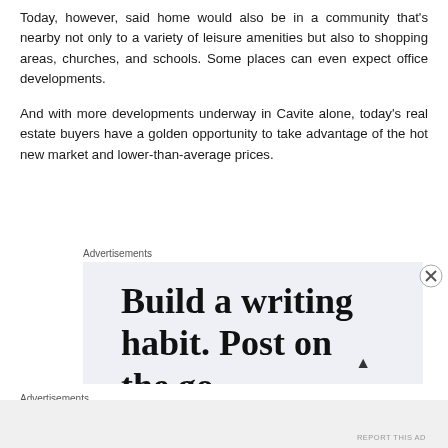Today, however, said home would also be in a community that's nearby not only to a variety of leisure amenities but also to shopping areas, churches, and schools. Some places can even expect office developments.
And with more developments underway in Cavite alone, today's real estate buyers have a golden opportunity to take advantage of the hot new market and lower-than-average prices.
Advertisements
[Figure (other): Advertisement banner with text: Build a writing habit. Post on the go]
Advertisements